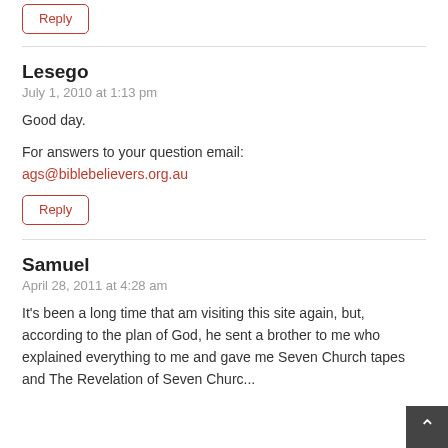Reply
Lesego
July 1, 2010 at 1:13 pm
Good day.

For answers to your question email:
ags@biblebelievers.org.au
Reply
Samuel
April 28, 2011 at 4:28 am
It's been a long time that am visiting this site again, but, according to the plan of God, he sent a brother to me who explained everything to me and gave me Seven Church tapes and The Revelation of Seven Church...